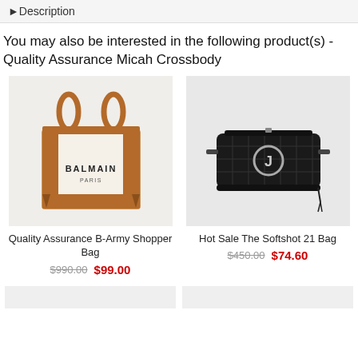Description
You may also be interested in the following product(s) - Quality Assurance Micah Crossbody
[Figure (photo): Balmain canvas tote bag with brown leather handles and trim, white body with BALMAIN PARIS text]
Quality Assurance B-Army Shopper Bag
$990.00  $99.00
[Figure (photo): Marc Jacobs black quilted Softshot 21 crossbody camera bag with silver J logo hardware]
Hot Sale The Softshot 21 Bag
$450.00  $74.60